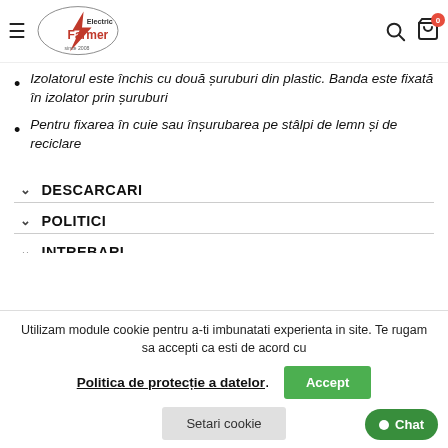Electric Farmer since 2008
Izolatorul este închis cu două șuruburi din plastic. Banda este fixată în izolator prin șuruburi
Pentru fixarea în cuie sau înșurubarea pe stâlpi de lemn și de reciclare
DESCARCARI
POLITICI
INTREBARI
Utilizam module cookie pentru a-ti imbunatati experienta in site. Te rugam sa accepti ca esti de acord cu Politica de protecție a datelor.
Accept
Setari cookie
Chat